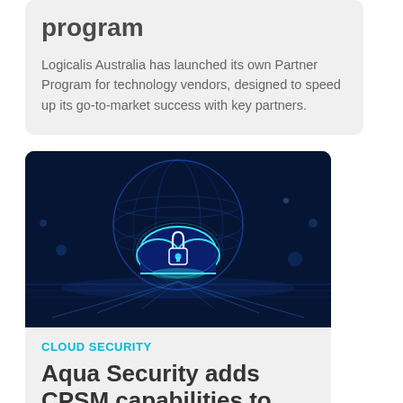program
Logicalis Australia has launched its own Partner Program for technology vendors, designed to speed up its go-to-market success with key partners.
[Figure (illustration): Dark blue digital globe with a glowing cloud and padlock icon in the center, surrounded by network light trails, representing cloud security.]
CLOUD SECURITY
Aqua Security adds CPSM capabilities to Aqua Trivy
Aqua Security has added cloud